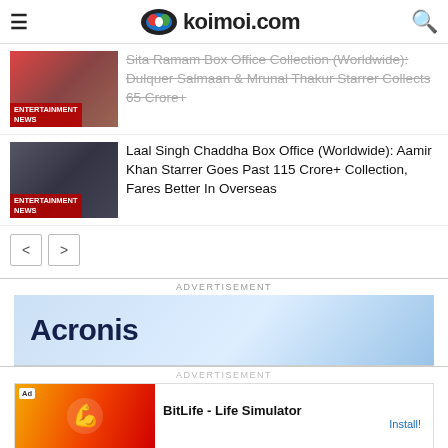koimoi.com
Sita Ramam Box Office Collection (Worldwide): Dulquer Salmaan & Mrunal Thakur Starrer Collects 65 Crore+
Laal Singh Chaddha Box Office (Worldwide): Aamir Khan Starrer Goes Past 115 Crore+ Collection, Fares Better In Overseas
ADVERTISEMENT
[Figure (screenshot): Acronis advertisement banner]
ADVERTISEMENT
[Figure (screenshot): BitLife - Life Simulator app advertisement with Install button]